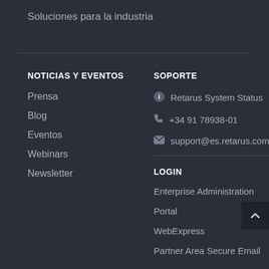Soluciones para la industria
NOTICIAS Y EVENTOS
Prensa
Blog
Eventos
Webinars
Newsletter
SOPORTE
Retarus System Status
+34 91 78938-01
support@es.retarus.com
LOGIN
Enterprise Administration
Portal
WebExpress
Partner Area Secure Email